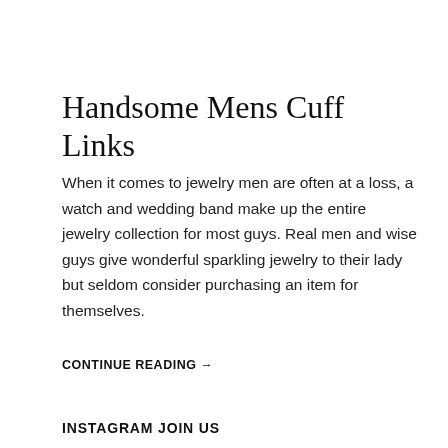Handsome Mens Cuff Links
When it comes to jewelry men are often at a loss, a watch and wedding band make up the entire jewelry collection for most guys. Real men and wise guys give wonderful sparkling jewelry to their lady but seldom consider purchasing an item for themselves.
CONTINUE READING →
INSTAGRAM JOIN US